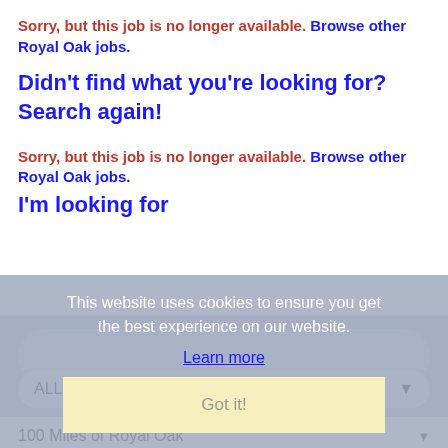Sorry, but this job is no longer available. Browse other Royal Oak jobs.
Didn't find what you're looking for? Search again!
Sorry, but this job is no longer available. Browse other Royal Oak jobs.
I'm looking for
This website uses cookies to ensure you get the best experience on our website.
Learn more
Got it!
in category
ALL
within
100 Miles of Royal Oak